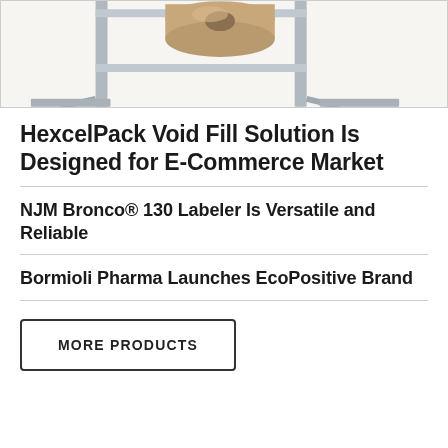[Figure (photo): Partial image of a packaging machine or roll stand with metal frame structure, cut off at top of page]
HexcelPack Void Fill Solution Is Designed for E-Commerce Market
NJM Bronco® 130 Labeler Is Versatile and Reliable
Bormioli Pharma Launches EcoPositive Brand
MORE PRODUCTS